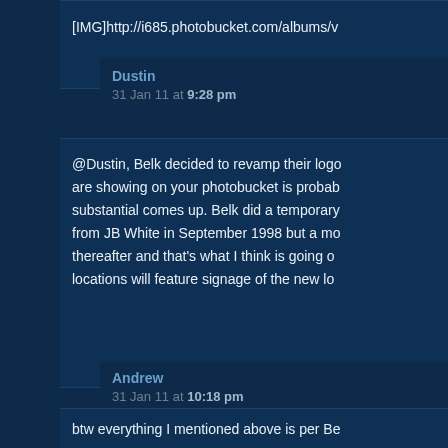[IMG]http://i685.photobucket.com/albums/v
Dustin
31 Jan 11 at 9:28 pm
@Dustin, Belk decided to revamp their logo... are showing on your photobucket is probab... substantial comes up. Belk did a temporary... from JB White in September 1998 but a mo... thereafter and that's what I think is going o... locations will feature signage of the new lo...
Andrew
31 Jan 11 at 10:18 pm
btw everything I mentioned above is per Be
Andrew
31 Jan 11 at 10:19 pm